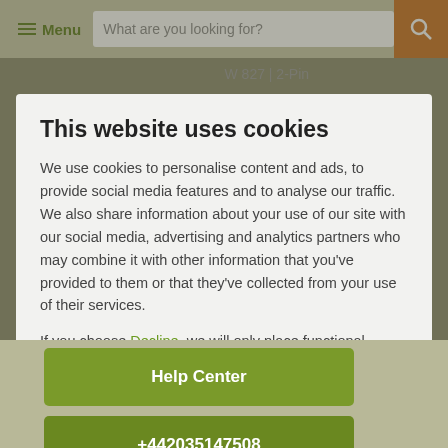[Figure (screenshot): Website navigation bar with hamburger menu icon, 'Menu' text in green, search box with placeholder 'What are you looking for?', and orange search button with magnifying glass icon.]
This website uses cookies
We use cookies to personalise content and ads, to provide social media features and to analyse our traffic. We also share information about your use of our site with our social media, advertising and analytics partners who may combine it with other information that you've provided to them or that they've collected from your use of their services.
If you choose Decline, we will only place functional cookies
Allow all cookies
Show details
Help Center
+442035147508
Monday 7:30 AM - 4:30 PM